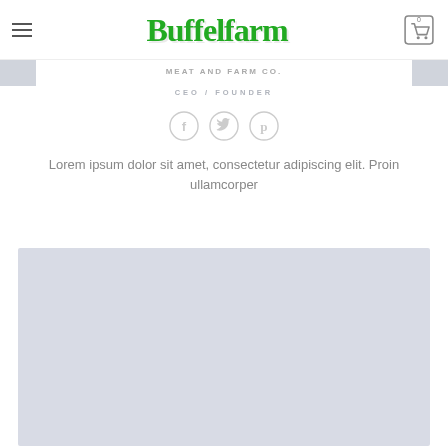Buffelfarm
CEO / FOUNDER
[Figure (illustration): Three circular social media icons: Facebook (f), Twitter (bird), Pinterest (p)]
Lorem ipsum dolor sit amet, consectetur adipiscing elit. Proin ullamcorper
[Figure (photo): Large light blue-grey placeholder image block at the bottom of the page]